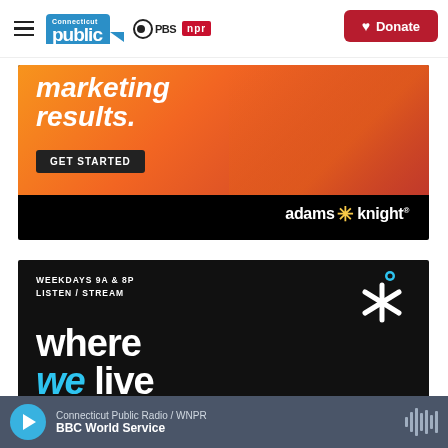Connecticut Public | PBS | NPR — Donate
[Figure (photo): Adams Knight marketing agency advertisement: orange/red gradient background with bold italic white text 'marketing results.' and a dark 'GET STARTED' button. Bottom black band shows 'adams * knight' logo in white with yellow asterisk.]
[Figure (photo): Where We Live radio show promotional banner: black background with white text 'WEEKDAYS 9A & 8P / LISTEN / STREAM', a decorative snowflake/asterisk in teal, and large 'where we live' title with 'we' in teal italic.]
Connecticut Public Radio / WNPR — BBC World Service